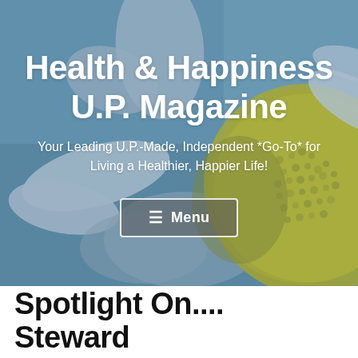[Figure (photo): Close-up photo of a daisy-like flower with white petals and a prominent yellow center, against a blurred blue-grey background. The flower fills the right portion of the image while white petals appear on the left. This serves as the hero banner background.]
Health & Happiness U.P. Magazine
Your Leading U.P.-Made, Independent *Go-To* for Living a Healthier, Happier Life!
Spotlight On.... Steward